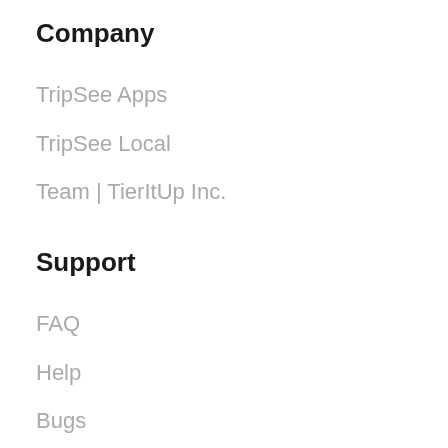Company
TripSee Apps
TripSee Local
Team | TierItUp Inc.
Support
FAQ
Help
Bugs
Feedback
Press Kit
Privacy & Terms